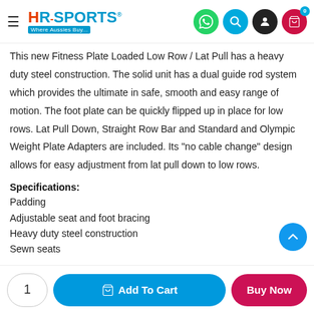HR-Sports Where Aussies Buy...
This new Fitness Plate Loaded Low Row / Lat Pull has a heavy duty steel construction. The solid unit has a dual guide rod system which provides the ultimate in safe, smooth and easy range of motion. The foot plate can be quickly flipped up in place for low rows. Lat Pull Down, Straight Row Bar and Standard and Olympic Weight Plate Adapters are included. Its "no cable change" design allows for easy adjustment from lat pull down to low rows.
Specifications:
Padding
Adjustable seat and foot bracing
Heavy duty steel construction
Sewn seats